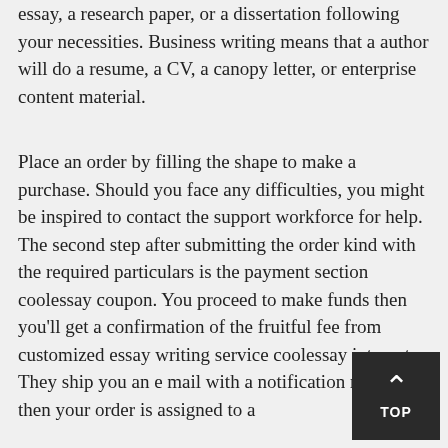essay, a research paper, or a dissertation following your necessities. Business writing means that a author will do a resume, a CV, a canopy letter, or enterprise content material.
Place an order by filling the shape to make a purchase. Should you face any difficulties, you might be inspired to contact the support workforce for help. The second step after submitting the order kind with the required particulars is the payment section coolessay coupon. You proceed to make funds then you'll get a confirmation of the fruitful fee from customized essay writing service coolessay internet. They ship you an e mail with a notification message, then your order is assigned to a